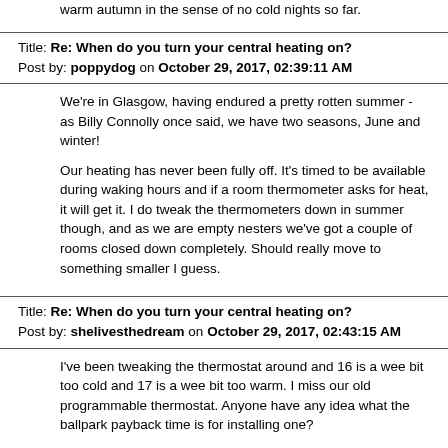warm autumn in the sense of no cold nights so far.
Title: Re: When do you turn your central heating on?
Post by: poppydog on October 29, 2017, 02:39:11 AM
We're in Glasgow, having endured a pretty rotten summer - as Billy Connolly once said, we have two seasons, June and winter!

Our heating has never been fully off.  It's timed to be available during waking hours and if a room thermometer asks for heat, it will get it.  I do tweak the thermometers down in summer though, and as we are empty nesters we've got a couple of rooms closed down completely. Should really move to something smaller I guess.
Title: Re: When do you turn your central heating on?
Post by: shelivesthedream on October 29, 2017, 02:43:15 AM
I've been tweaking the thermostat around and 16 is a wee bit too cold and 17 is a wee bit too warm. I miss our old programmable thermostat. Anyone have any idea what the ballpark payback time is for installing one?
Title: Re: When do you turn your central heating on?
Post by: Playing with Fire UK on October 31, 2017, 04:08:08 AM